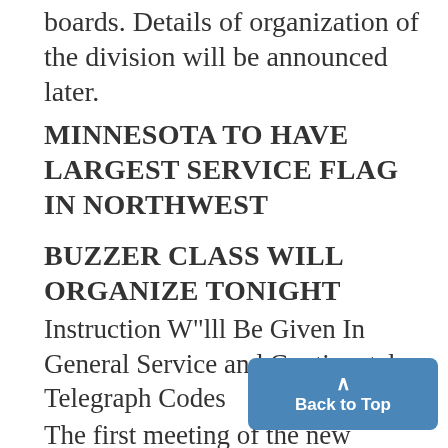boards. Details of organization of the division will be announced later.
MINNESOTA TO HAVE LARGEST SERVICE FLAG IN NORTHWEST
BUZZER CLASS WILL ORGANIZE TONIGHT
Instruction W"lll Be Given In General Service and Continental Telegraph Codes
The first meeting of the new service telegraph code class recenty au ized by the Board of Regents w hold tonight in room 105, Engineer